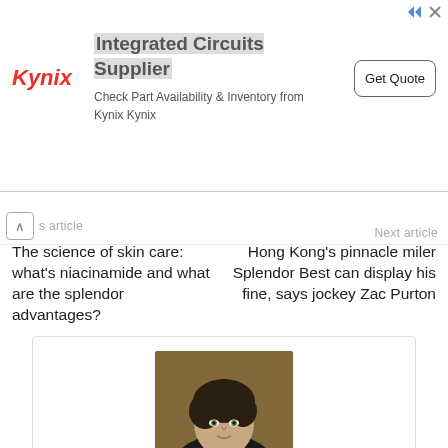[Figure (other): Kynix advertisement banner with logo, 'Integrated Circuits Supplier' heading, 'Check Part Availability & Inventory from Kynix Kynix' subtext, and 'Get Quote' button]
Previous article
Next article
The science of skin care: what's niacinamide and what are the splendor advantages?
Hong Kong's pinnacle miler Splendor Best can display his fine, says jockey Zac Purton
[Figure (photo): Portrait photo of a young man with dark hair wearing a black shirt, photographed outdoors]
Jeffrey M. Molina
What gets me going now is working on yard waste in Pensacola, FL. Spent childhood marketing ice cream in Ohio. My current pet project is investing in cigarettes for the underprivileged. Earned praise for